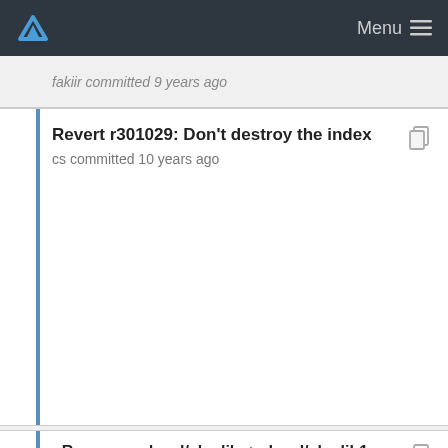Menu
fakiir committed 9 years ago
Revert r301029: Don't destroy the index
cs committed 10 years ago
- Repocopy devel/clanlib -> devel/clanlib1
jhale committed 9 years ago